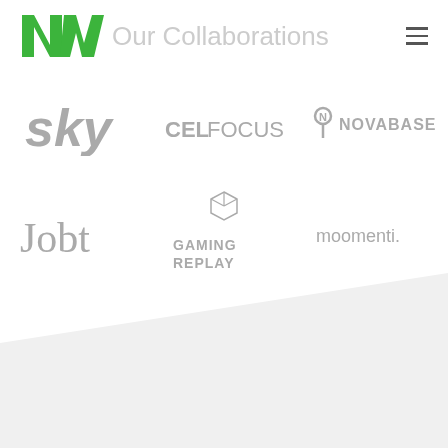[Figure (logo): NW company logo in green]
Our Collaborations
[Figure (logo): Sky logo in gray]
[Figure (logo): CELFOCUS logo in gray]
[Figure (logo): Novabase logo in gray]
[Figure (logo): Jobt logo in gray]
[Figure (logo): Gaming Replay logo in gray]
[Figure (logo): moomenti logo in gray]